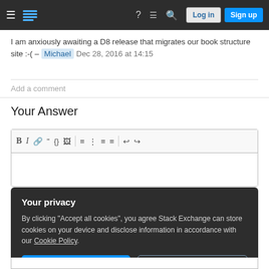Stack Exchange navigation bar with hamburger menu, logo, help icon, chat icon, search icon, Log in button, Sign up button
I am anxiously awaiting a D8 release that migrates our book structure site :-( – Michael Dec 28, 2016 at 14:15
Add a comment
Your Answer
[Figure (screenshot): Text editor toolbar with formatting buttons: Bold, Italic, Link, Blockquote, Code, Image, Ordered list, Unordered list, Align left, Align justify, Undo, Redo]
Your privacy
By clicking "Accept all cookies", you agree Stack Exchange can store cookies on your device and disclose information in accordance with our Cookie Policy.
Accept all cookies   Customize settings